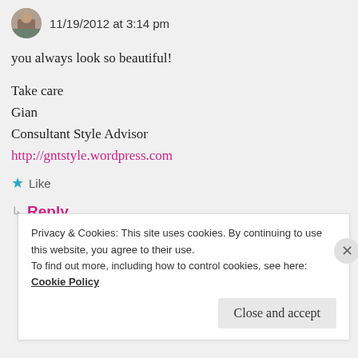11/19/2012 at 3:14 pm
you always look so beautiful!
Take care
Gian
Consultant Style Advisor
http://gntstyle.wordpress.com
★ Like
↳ Reply
Privacy & Cookies: This site uses cookies. By continuing to use this website, you agree to their use.
To find out more, including how to control cookies, see here: Cookie Policy
Close and accept